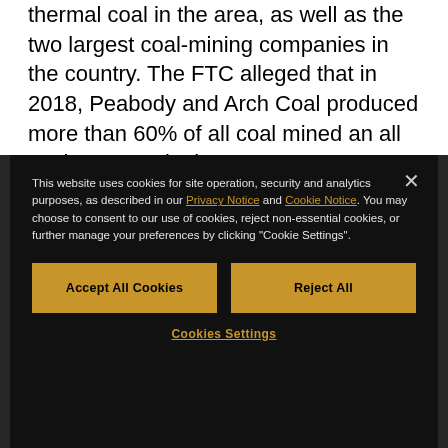thermal coal in the area, as well as the two largest coal-mining companies in the country. The FTC alleged that in 2018, Peabody and Arch Coal produced more than 60% of all coal mined an all coal reserves in the area.
This website uses cookies for site operation, security and analytics purposes, as described in our Privacy Notice and Cookie Notice. You may choose to consent to our use of cookies, reject non-essential cookies, or further manage your preferences by clicking "Cookie Settings".
2. FTC Approves Final Order Imposing Conditions